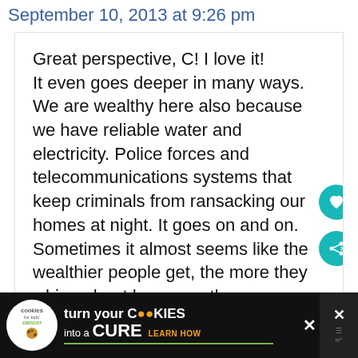September 10, 2013 at 9:26 pm
Great perspective, C! I love it! It even goes deeper in many ways. We are wealthy here also because we have reliable water and electricity. Police forces and telecommunications systems that keep criminals from ransacking our homes at night. It goes on and on. Sometimes it almost seems like the wealthier people get, the more they whine about how poor they are.
[Figure (other): Advertisement banner for 'Cookies for Kids Cancer' charity: turn your COOKIES into a CURE LEARN HOW, with close button and mobile icon]